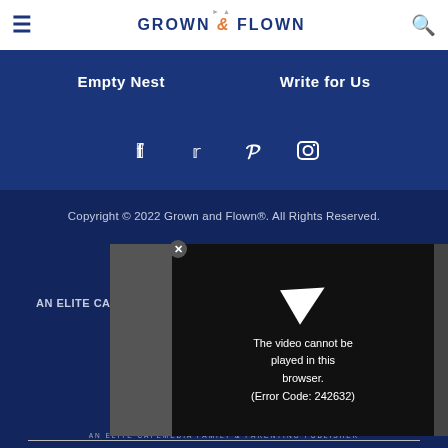GROWN & FLOWN
Empty Nest   Write for Us
[Figure (other): Social media icons: Facebook, Twitter, Pinterest, Instagram]
Copyright © 2022 Grown and Flown®. All Rights Reserved.
AN ELITE CAFEMEDIA FAMILY & PARENTING PUBLISHER
[Figure (screenshot): Video player overlay showing error: The video cannot be played in this browser. (Error Code: 242632)]
AN ELITE CAFEMEDIA FAMILY & PARENTING PUBLISHER